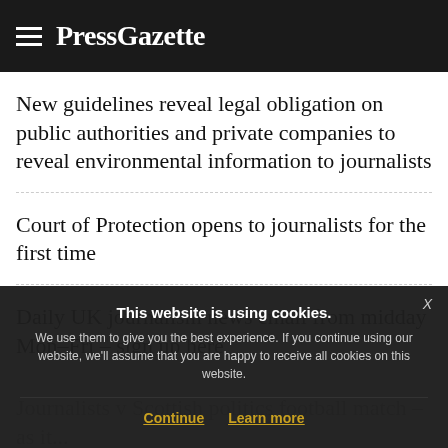PressGazette
New guidelines reveal legal obligation on public authorities and private companies to reveal environmental information to journalists
Court of Protection opens to journalists for the first time
Daily UK journalism news email from midday Mon–Fri – sign up here
Journalists v Scottish politics football match – as it...
This website is using cookies. We use them to give you the best experience. If you continue using our website, we'll assume that you are happy to receive all cookies on this website.
Continue   Learn more